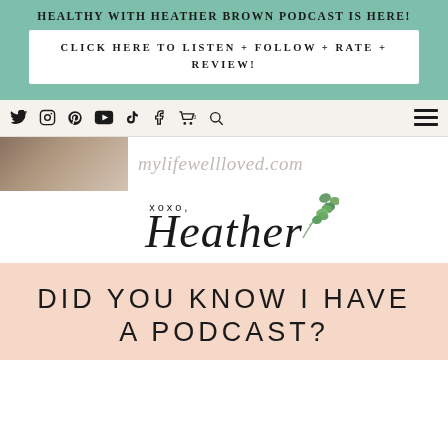HEALTHY WITH HEATHER BROWN PODCAST IS HERE!
CLICK HERE TO LISTEN + FOLLOW + RATE + REVIEW!
[Figure (screenshot): Navigation bar with social media icons: Twitter, Instagram, Pinterest, YouTube, TikTok, Facebook, cart, search, and hamburger menu]
[Figure (photo): Partial photo strip showing a person's hair and shoulder, with mylifewellloved.com watermark text]
[Figure (logo): xoxo, Heather signature logo with eucalyptus botanical illustration]
DID YOU KNOW I HAVE A PODCAST?